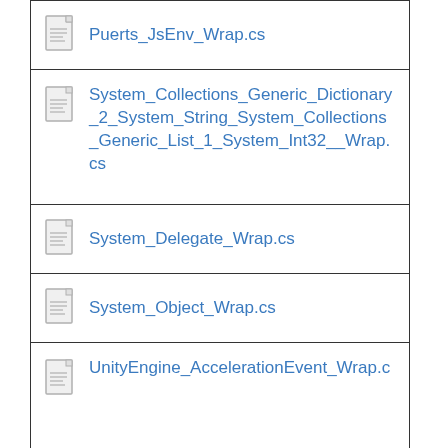Puerts_JsEnv_Wrap.cs
System_Collections_Generic_Dictionary_2_System_String_System_Collections_Generic_List_1_System_Int32__Wrap.cs
System_Delegate_Wrap.cs
System_Object_Wrap.cs
UnityEngine_AccelerationEvent_Wrap.c